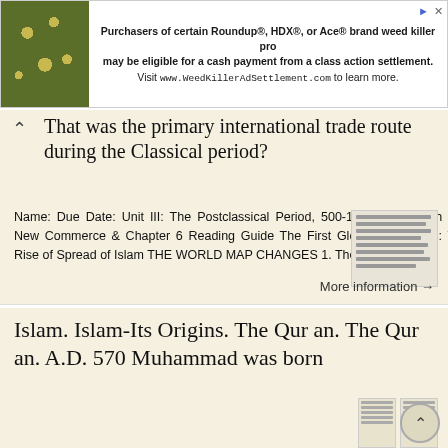[Figure (screenshot): Advertisement banner for WeedKillerAdSettlement.com with plant background image on the left and ad text on the right]
That was the primary international trade route during the Classical period?
Name: Due Date: Unit III: The Postclassical Period, 500-1450: New Faith and New Commerce & Chapter 6 Reading Guide The First Global Civilization: The Rise of Spread of Islam THE WORLD MAP CHANGES 1. The
More information →
Islam. Islam-Its Origins. The Qur an. The Qur an. A.D. 570 Muhammad was born
Islam Islam is Arabic for surrender, or submission. Its full connotation is the peace that comes from surrendering one s life to God. Muslim means one who submits. 20% of the world s population Indonesia-88%